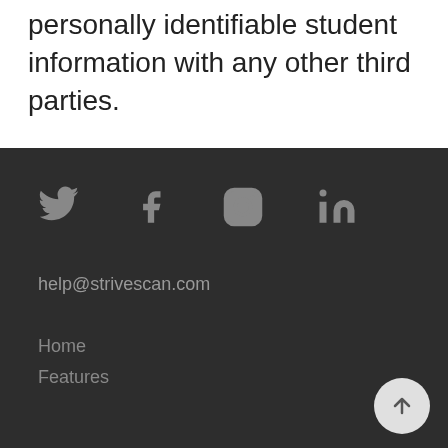personally identifiable student information with any other third parties.
[Figure (illustration): Social media icons: Twitter bird, Facebook f, Instagram camera, LinkedIn in — displayed in a dark footer area]
help@strivescan.com
Home
Features